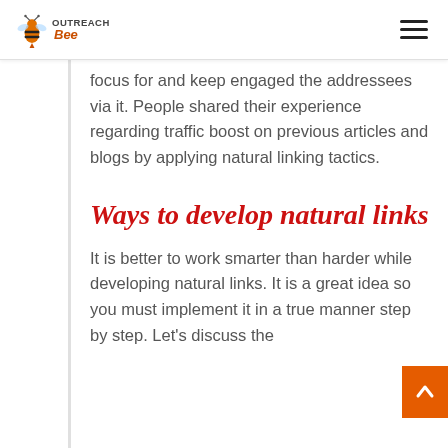OutreachBee
focus for and keep engaged the addressees via it. People shared their experience regarding traffic boost on previous articles and blogs by applying natural linking tactics.
Ways to develop natural links
It is better to work smarter than harder while developing natural links. It is a great idea so you must implement it in a true manner step by step. Let’s discuss the